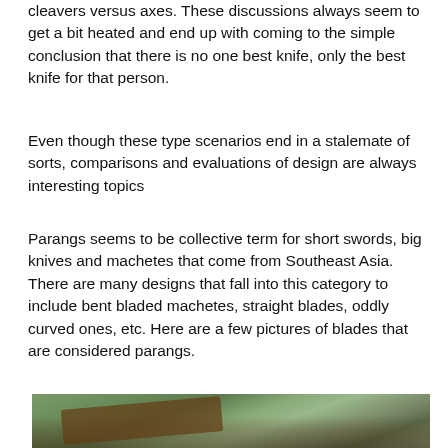cleavers versus axes. These discussions always seem to get a bit heated and end up with coming to the simple conclusion that there is no one best knife, only the best knife for that person.
Even though these type scenarios end in a stalemate of sorts, comparisons and evaluations of design are always interesting topics
Parangs seems to be collective term for short swords, big knives and machetes that come from Southeast Asia. There are many designs that fall into this category to include bent bladed machetes, straight blades, oddly curved ones, etc. Here are a few pictures of blades that are considered parangs.
[Figure (photo): Photo of parangs/machetes laid out on the ground with vegetation in the background]